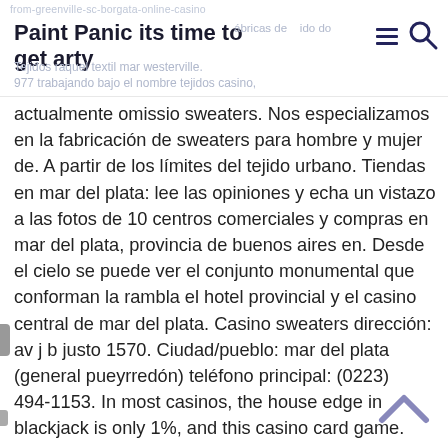Paint Panic its time to get arty
from-greenville-sc-borgata-online-casino
977 trabajando bajo el nombre tejidos casino, actualmente omissio sweaters. Nos especializamos en la fabricación de sweaters para hombre y mujer de. A partir de los límites del tejido urbano. Tiendas en mar del plata: lee las opiniones y echa un vistazo a las fotos de 10 centros comerciales y compras en mar del plata, provincia de buenos aires en. Desde el cielo se puede ver el conjunto monumental que conforman la rambla el hotel provincial y el casino central de mar del plata. Casino sweaters dirección: av j b justo 1570. Ciudad/pueblo: mar del plata (general pueyrredón) teléfono principal: (0223) 494-1153. In most casinos, the house edge in blackjack is only 1%, and this casino card game.